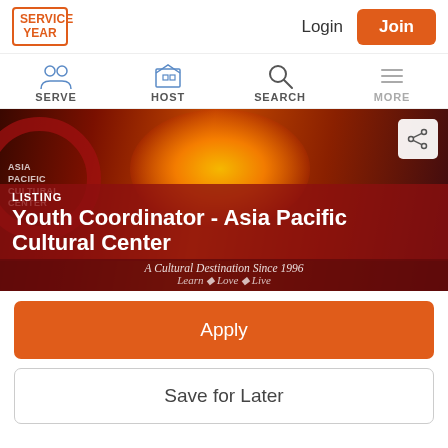[Figure (logo): Service Year logo — orange square border with text SERVICE YEAR inside]
Login
Join
[Figure (infographic): Navigation bar with icons and labels: SERVE, HOST, SEARCH, MORE]
[Figure (photo): Hero banner showing cultural performers at Asia Pacific Cultural Center with fire and traditional costumes. Text overlay: LISTING, Youth Coordinator - Asia Pacific Cultural Center, A Cultural Destination Since 1996, Learn ◆ Love ◆ Live]
Apply
Save for Later